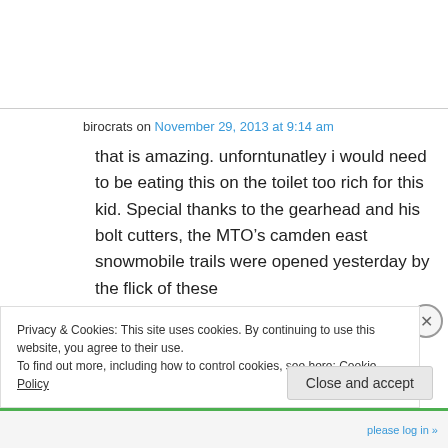birocrats on November 29, 2013 at 9:14 am
that is amazing. unforntunatley i would need to be eating this on the toilet too rich for this kid. Special thanks to the gearhead and his bolt cutters, the MTO’s camden east snowmobile trails were opened yesterday by the flick of these
Privacy & Cookies: This site uses cookies. By continuing to use this website, you agree to their use.
To find out more, including how to control cookies, see here: Cookie Policy
Close and accept